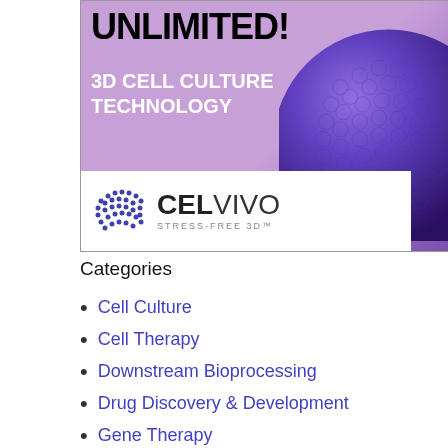[Figure (illustration): CelVivo advertisement banner for 3D Cell Culture Technology featuring the text UNLIMITED! in bold black, subtitle 3D CELL CULTURE TECHNOLOGY in white bold, a purple 3D sphere texture, and the CelVivo Stress-Free 3D logo with globe icon on white background.]
Categories
Cell Culture
Cell Therapy
Downstream Bioprocessing
Drug Discovery & Development
Gene Therapy
General
Industry Issues
News & Announcements
Stem Cell Research